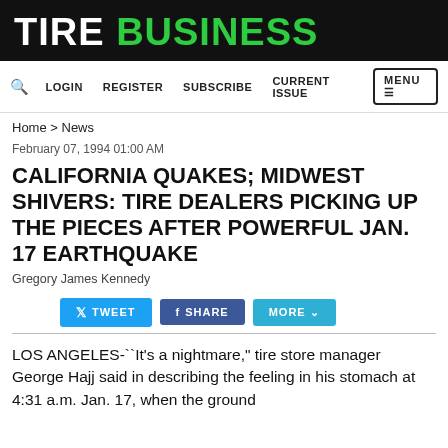TIRE BUSINESS
LOGIN  REGISTER  SUBSCRIBE  CURRENT ISSUE  MENU
Home > News
February 07, 1994 01:00 AM
CALIFORNIA QUAKES; MIDWEST SHIVERS: TIRE DEALERS PICKING UP THE PIECES AFTER POWERFUL JAN. 17 EARTHQUAKE
Gregory James Kennedy
[Figure (other): Social share buttons: TWEET, SHARE, MORE]
LOS ANGELES-``It's a nightmare," tire store manager George Hajj said in describing the feeling in his stomach at 4:31 a.m. Jan. 17, when the ground